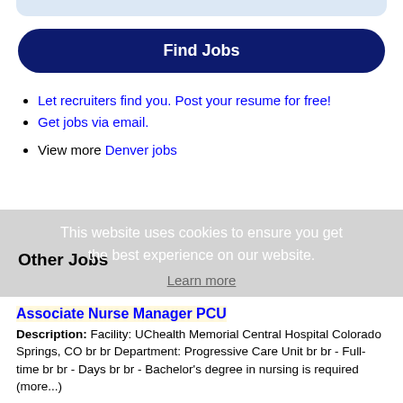[Figure (other): Light blue rounded top bar element at the very top of the page]
Find Jobs
Let recruiters find you. Post your resume for free!
Get jobs via email.
View more Denver jobs
This website uses cookies to ensure you get the best experience on our website.
Learn more
Other Jobs
Associate Nurse Manager PCU
Description: Facility: UChealth Memorial Central Hospital Colorado Springs, CO br br Department: Progressive Care Unit br br - Full-time br br - Days br br - Bachelor's degree in nursing is required (more...)